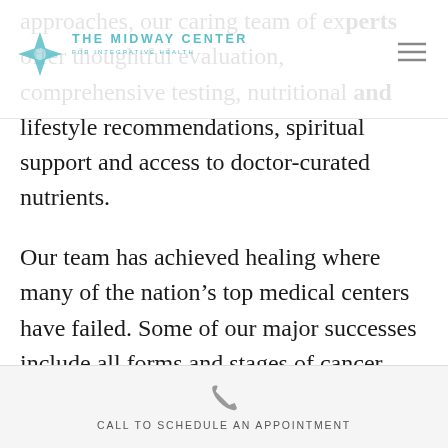THE MIDWAY CENTER FOR INTEGRATIVE HEALTH
approaches, our caring team of experts offer thoughtful evaluation, comprehensive testing, nutritional and lifestyle recommendations, spiritual support and access to doctor-curated nutrients.
Our team has achieved healing where many of the nation’s top medical centers have failed. Some of our major successes include all forms and stages of cancer, inflammatory and irritable bowel disorders, the full spectrum of female disorders, including fertility and
CALL TO SCHEDULE AN APPOINTMENT